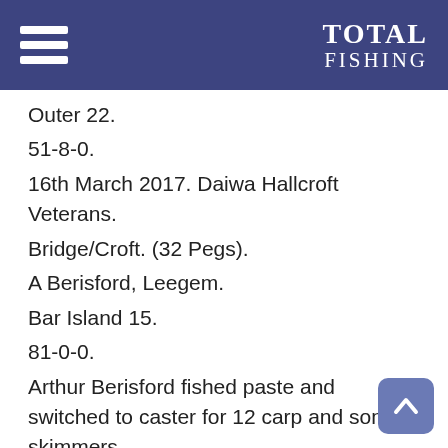TOTAL FISHING
Outer 22.
51-8-0.
16th March 2017. Daiwa Hallcroft Veterans.
Bridge/Croft. (32 Pegs).
A Berisford, Leegem.
Bar Island 15.
81-0-0.
Arthur Berisford fished paste and switched to caster for 12 carp and some skimmers.
D Sewell, James Maude AC.
Croft 27.